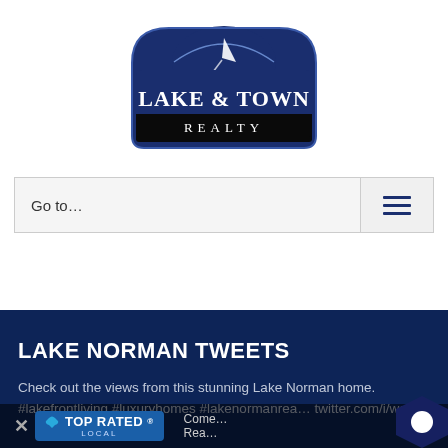[Figure (logo): Lake & Town Realty logo — dark blue arch with white compass/arrow, bold white text LAKE & TOWN over black bar with white REALTY]
Go to…
LAKE NORMAN TWEETS
Check out the views from this stunning Lake Norman home. #lakefrontliving #luxuryhomes #lakenormanrea… twitter.com/i/we…
[Figure (logo): Top Rated Local badge overlay with X close button and corner chat bubble]
Come… Rea…